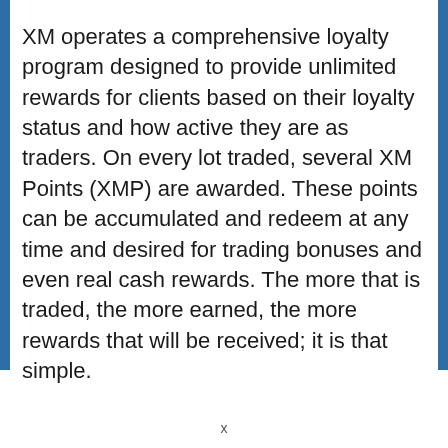XM operates a comprehensive loyalty program designed to provide unlimited rewards for clients based on their loyalty status and how active they are as traders. On every lot traded, several XM Points (XMP) are awarded. These points can be accumulated and redeem at any time and desired for trading bonuses and even real cash rewards. The more that is traded, the more earned, the more rewards that will be received; it is that simple.
x